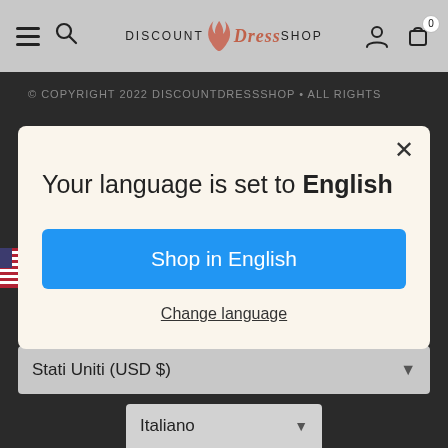[Figure (screenshot): Discount Dress Shop website navigation bar with hamburger menu, search icon, logo, user icon, and cart icon showing 0 items]
© COPYRIGHT 2022 DISCOUNTDRESSSHOP • ALL RIGHTS
[Figure (screenshot): Language selection modal dialog on cream/beige background with close button (×), title text 'Your language is set to English', a blue 'Shop in English' button, and an underlined 'Change language' link]
Stati Uniti (USD $)
Italiano